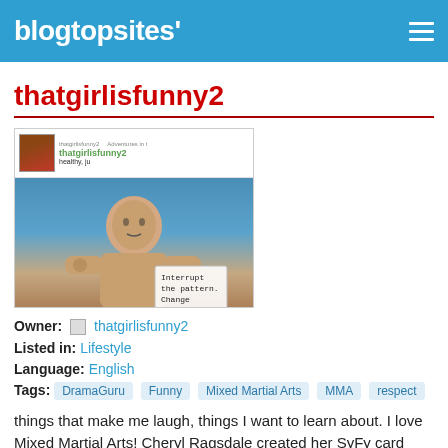blogtopsites'
thatgirlisfunny2
[Figure (screenshot): Screenshot of the thatgirlisfunny2 blog showing a header with the blog name and a photo of a man underwater holding a sign that reads 'Interrupt the pattern. Change']
Owner: thatgirlisfunny2
Listed in: Lifestyle
Language: English
Tags: DramaGuru  Funny  Mixed Martial Arts  MMA  respect
things that make me laugh, things I want to learn about. I love Mixed Martial Arts! Cheryl Ragsdale created her SyFy card game, "DramaGuru" to teach